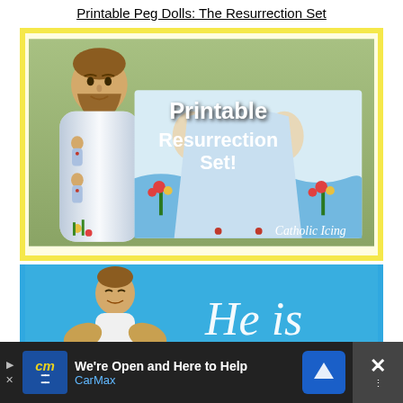Printable Peg Dolls: The Resurrection Set
[Figure (photo): Product photo showing a painted wooden peg doll of Jesus in white robes alongside a printable resurrection set card with 'Printable Resurrection Set!' text and 'Catholic Icing' branding]
[Figure (photo): Blue background image strip showing an angel peg doll and 'He is' text in cursive script, partially visible]
[Figure (screenshot): Advertisement bar for CarMax reading 'We're Open and Here to Help' with CarMax logo and navigation arrow icon]